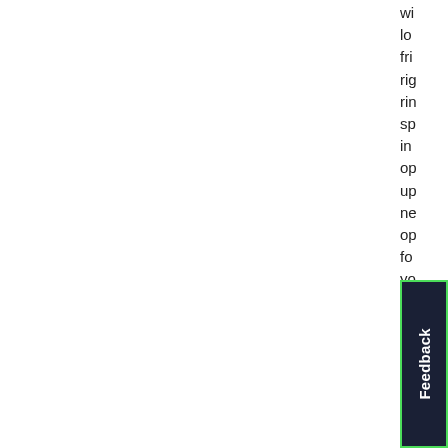wi lo fri rig rin sp in op up ne op fo yo rig
[Figure (other): Feedback button widget, dark navy background with green border, rotated 'Feedback' text in white]